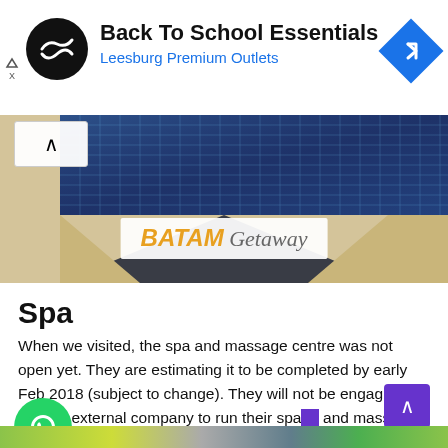[Figure (screenshot): Advertisement banner: black circular logo with double-arrow, 'Back To School Essentials' title in bold, 'Leesburg Premium Outlets' subtitle in blue, blue diamond navigation icon on right]
[Figure (photo): Hero image of a swimming pool with blue mosaic tiles, beige stone surround. Overlaid white box with 'BATAM Getaway' branding logo.]
Spa
When we visited, the spa and massage centre was not open yet. They are estimating it to be completed by early Feb 2018 (subject to change). They will not be engaging with an external company to run their spa and massage centre and will instead be from their very own Harris' signature treatments.